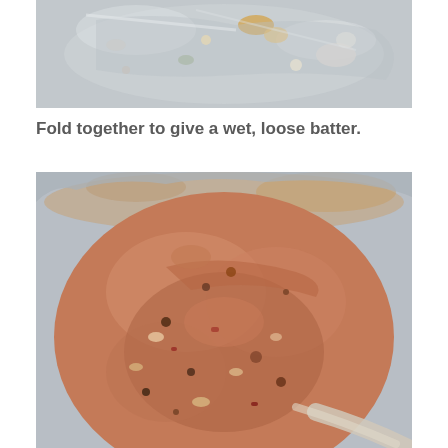[Figure (photo): Close-up photo of ingredients being mixed in a glass or metal bowl, showing chunky pieces with liquid, partially cropped at top of page]
Fold together to give a wet, loose batter.
[Figure (photo): Close-up photo of a wet, loose batter mixture in a metallic bowl, showing a brownish-pink mixture with visible grains, seeds, and small chunks, with a spoon visible at the bottom right edge]